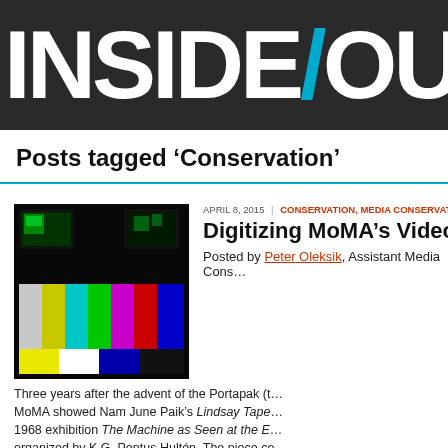INSIDE/OUT
Posts tagged ‘Conservation’
[Figure (photo): A photo of a video monitor display showing color bars (SMPTE color bars) with green-lit monitors visible in the background against a dark background.]
APRIL 8, 2015 | CONSERVATION, MEDIA CONSERVATION
Digitizing MoMA’s Video C…
Posted by Peter Oleksik, Assistant Media Cons…
Three years after the advent of the Portapak (t… MoMA showed Nam June Paik’s Lindsay Tape… 1968 exhibition The Machine as Seen at the E… organized by K.G. Pontus Hultén. The piece co… reel decks that were spaced 10 feet apart, with the tape (Paik’s original!), jer… continuously. After a week on view, the wear on the tape proved too much. It… taken off view (and was almost lost to history). Despite this rather daunting i… fugitive nature of video, the Museum began to formally acquire video works i…
Read more